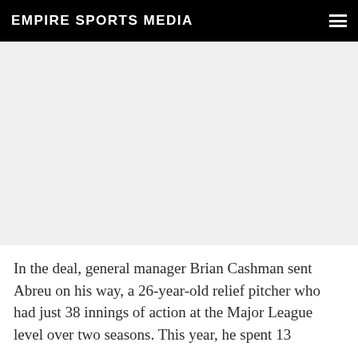EMPIRE SPORTS MEDIA
[Figure (other): Advertisement or blank image placeholder area]
In the deal, general manager Brian Cashman sent Abreu on his way, a 26-year-old relief pitcher who had just 38 innings of action at the Major League level over two seasons. This year, he spent 13